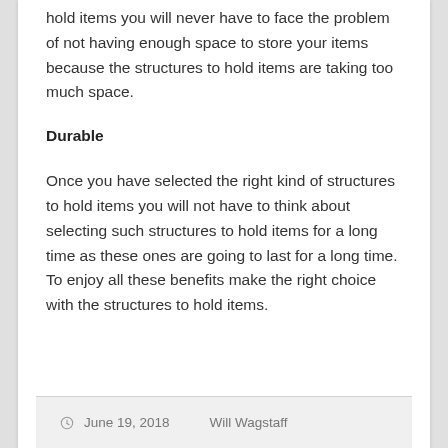hold items you will never have to face the problem of not having enough space to store your items because the structures to hold items are taking too much space.
Durable
Once you have selected the right kind of structures to hold items you will not have to think about selecting such structures to hold items for a long time as these ones are going to last for a long time.
To enjoy all these benefits make the right choice with the structures to hold items.
June 19, 2018   Will Wagstaff